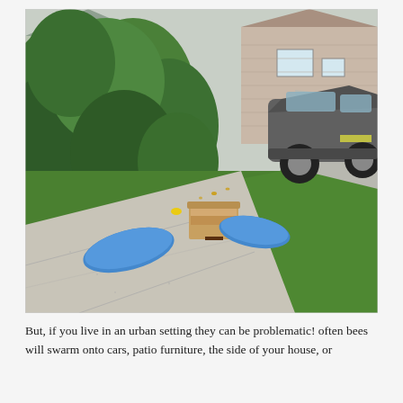[Figure (photo): Outdoor photo of a suburban sidewalk and driveway area. Large green trees/shrubs on the left, a gray SUV parked in a driveway in the background right. On the concrete sidewalk in the foreground: a wooden box (possible beehive) and two blue plastic lids laid flat on the ground. Green lawn on the right side.]
But, if you live in an urban setting they can be problematic! often bees will swarm onto cars, patio furniture, the side of your house, or